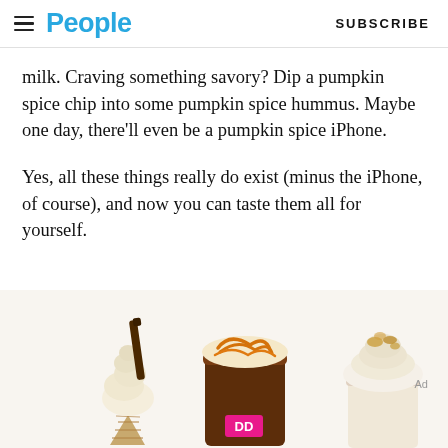People | SUBSCRIBE
milk. Craving something savory? Dip a pumpkin spice chip into some pumpkin spice hummus. Maybe one day, there'll even be a pumpkin spice iPhone.
Yes, all these things really do exist (minus the iPhone, of course), and now you can taste them all for yourself.
[Figure (photo): Three pumpkin spice drinks/desserts: a soft serve ice cream cone with a chocolate straw, a Dunkin' Donuts coffee cup with caramel drizzle on top, and a cup with whipped cream topping. An 'Ad' label appears on the right.]